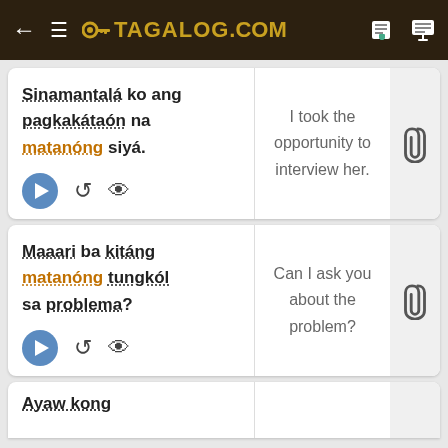TAGALOG.COM
Sinamantalá ko ang pagkakátaón na matanóng siyá.
I took the opportunity to interview her.
Maaari ba kitáng matanóng tungkól sa problema?
Can I ask you about the problem?
Ayaw kong